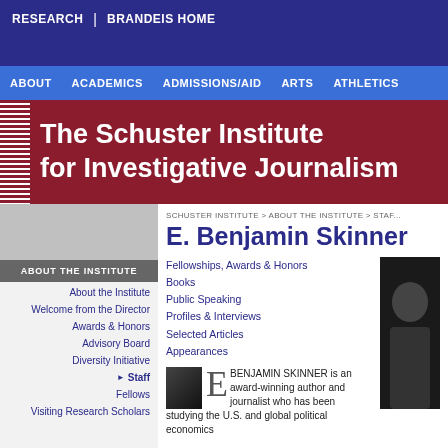RESEARCH | BRANDEIS HOME
ABOUT | ACADEMICS | ADMISSIONS/AID | ARTS | ATHLETICS
The Schuster Institute for Investigative Journalism
ABOUT THE INSTITUTE
About the Institute
Welcome from the Director
Awards & Honors
Advisory Board
Diversity Initiative
▶ Staff
Fellows
Visiting Research Scholars
SCHUSTER INSTITUTE > ABOUT THE INSTITUTE > STAFF
E. Benjamin Skinner
Fellowships, Awards & Honors
Books
Public Speaking
Profiles & Interviews
Selected Articles
Appearances
[Figure (photo): Black and white portrait photo of E. Benjamin Skinner]
E BENJAMIN SKINNER is an award-winning author and journalist who has been studying the U.S. and global political economics